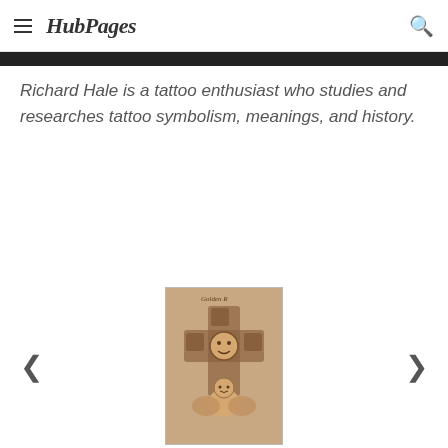HubPages
Richard Hale is a tattoo enthusiast who studies and researches tattoo symbolism, meanings, and history.
[Figure (photo): A tattoo of a cross with an angel/cherub figure at the bottom, decorative elements on the cross arms, and cursive text at the top reading something like 'Golden R'. The tattoo is on skin (tan/beige background).]